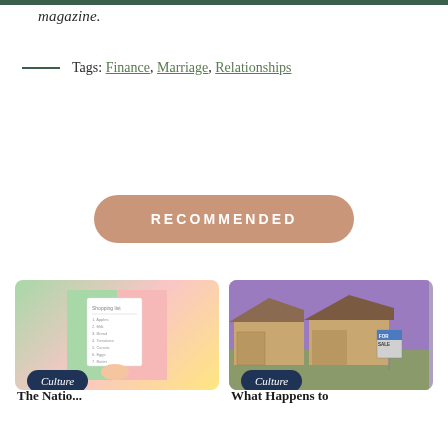magazine.
Tags: Finance, Marriage, Relationships
RECOMMENDED
[Figure (photo): Illustration of a hand holding a checklist paper on colorful background (green, pink, yellow)]
Culture
The Natio...
[Figure (photo): Photo of suburban houses with a For Sale sign, purple sky background]
Culture
What Happens to